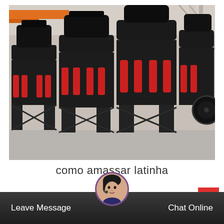[Figure (photo): Industrial cone crushers lined up in a factory/warehouse setting. Large black heavy machinery with red hydraulic cylinders, arranged in a row on metal stands. Industrial building structure visible in background with orange overhead crane.]
como amassar latinha
[Figure (screenshot): Website footer bar with dark background showing 'Leave Message' on left, customer service representative avatar in center circle with purple border, and 'Chat Online' on right. Red back-to-top arrow button in upper right area.]